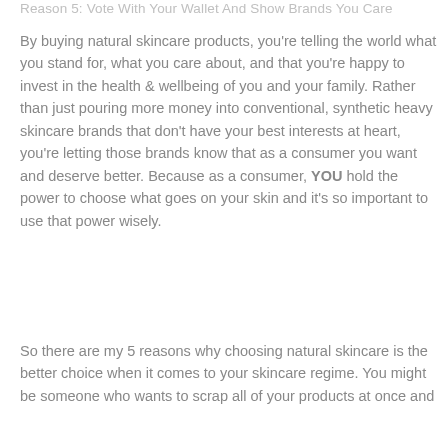Reason 5: Vote With Your Wallet And Show Brands You Care
By buying natural skincare products, you're telling the world what you stand for, what you care about, and that you're happy to invest in the health & wellbeing of you and your family. Rather than just pouring more money into conventional, synthetic heavy skincare brands that don't have your best interests at heart, you're letting those brands know that as a consumer you want and deserve better. Because as a consumer, YOU hold the power to choose what goes on your skin and it's so important to use that power wisely.
So there are my 5 reasons why choosing natural skincare is the better choice when it comes to your skincare regime. You might be someone who wants to scrap all of your products at once and